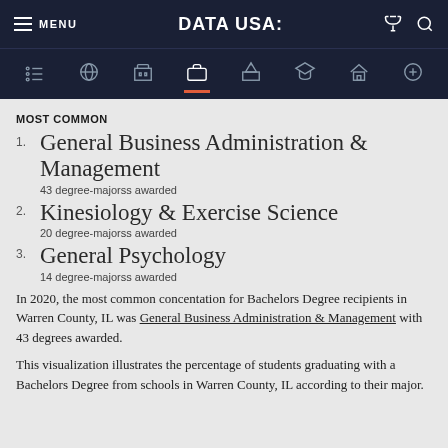MENU | DATA USA: | [cart] [search]
MOST COMMON
General Business Administration & Management
43 degree-majorss awarded
Kinesiology & Exercise Science
20 degree-majorss awarded
General Psychology
14 degree-majorss awarded
In 2020, the most common concentation for Bachelors Degree recipients in Warren County, IL was General Business Administration & Management with 43 degrees awarded.
This visualization illustrates the percentage of students graduating with a Bachelors Degree from schools in Warren County, IL according to their major.